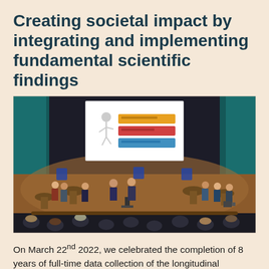Creating societal impact by integrating and implementing fundamental scientific findings
[Figure (photo): A theatre stage with a wooden floor and teal curtains. A presentation screen shows a slide with coloured boxes. Several people stand on and around the stage; two presenters stand in the centre. Audience members are visible in the foreground seated in dark chairs.]
On March 22nd 2022, we celebrated the completion of 8 years of full-time data collection of the longitudinal